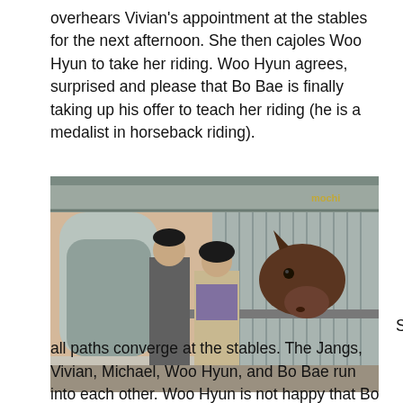overhears Vivian's appointment at the stables for the next afternoon. She then cajoles Woo Hyun to take her riding. Woo Hyun agrees, surprised and please that Bo Bae is finally taking up his offer to teach her riding (he is a medalist in horseback riding).
[Figure (photo): A man and a woman stand at a stable stall looking at a dark brown horse that is leaning its head over the metal gate. The stable has corrugated metal walls and arched openings visible in the background. A 'mochi' watermark appears in the upper right corner.]
So all paths converge at the stables. The Jangs, Vivian, Michael, Woo Hyun, and Bo Bae run into each other. Woo Hyun is not happy that Bo Bae used him to get to Vivian (and thus,